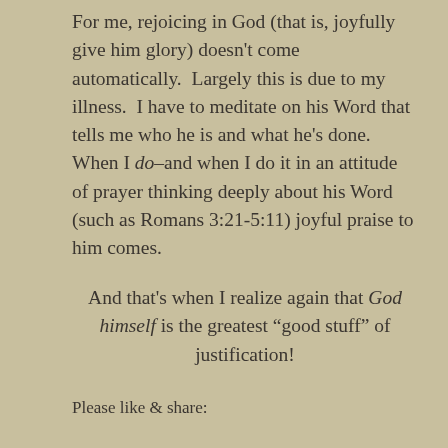For me, rejoicing in God (that is, joyfully give him glory) doesn't come automatically. Largely this is due to my illness. I have to meditate on his Word that tells me who he is and what he's done. When I do–and when I do it in an attitude of prayer thinking deeply about his Word (such as Romans 3:21-5:11) joyful praise to him comes.
And that's when I realize again that God himself is the greatest “good stuff” of justification!
Please like & share: